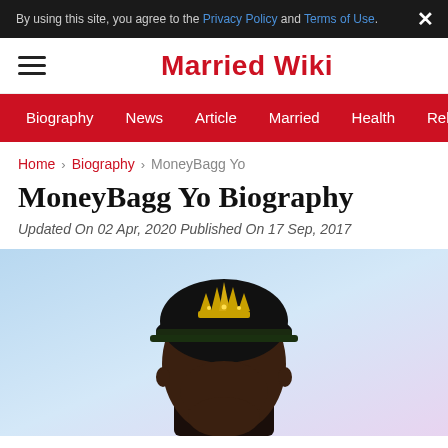By using this site, you agree to the Privacy Policy and Terms of Use.
Married Wiki
Biography  News  Article  Married  Health  Relationship  Ga
Home > Biography > MoneyBagg Yo
MoneyBagg Yo Biography
Updated On 02 Apr, 2020 Published On 17 Sep, 2017
[Figure (photo): Photo of MoneyBagg Yo wearing a black cap with a gold crown logo, against a light blue/pastel background]